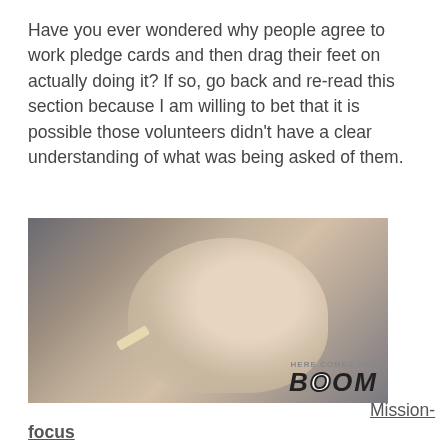Have you ever wondered why people agree to work pledge cards and then drag their feet on actually doing it? If so, go back and re-read this section because I am willing to bet that it is possible those volunteers didn't have a clear understanding of what was being asked of them.
[Figure (photo): A man lying back with a bandage on his cheek, with 'HERE COMES THE BOOM' text/logo overlaid in the lower right corner of the image.]
Mission-focus